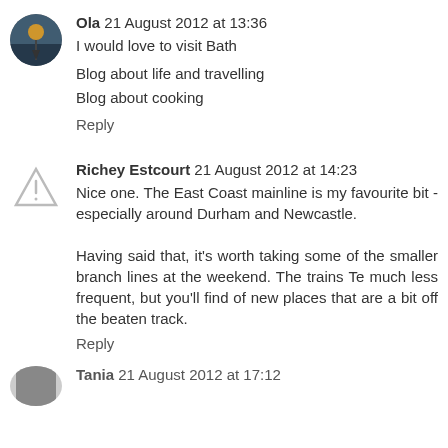Ola 21 August 2012 at 13:36
I would love to visit Bath
Blog about life and travelling
Blog about cooking
Reply
Richey Estcourt 21 August 2012 at 14:23
Nice one. The East Coast mainline is my favourite bit - especially around Durham and Newcastle.
Having said that, it's worth taking some of the smaller branch lines at the weekend. The trains Te much less frequent, but you'll find of new places that are a bit off the beaten track.
Reply
Tania 21 August 2012 at 17:12